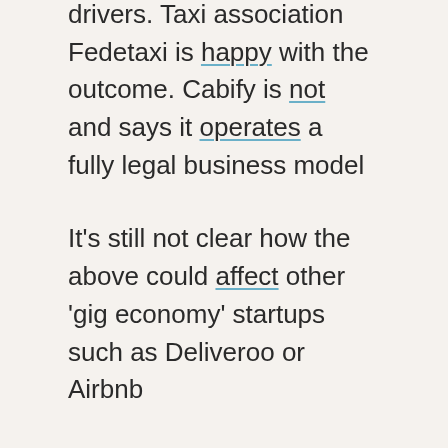drivers. Taxi association Fedetaxi is happy with the outcome. Cabify is not and says it operates a fully legal business model
It's still not clear how the above could affect other 'gig economy' startups such as Deliveroo or Airbnb
Spanish union UGT is pushing regulators to look at the business models of Deliveroo, Glovo, UberEats and Stuart
Amazon is buying rights to several Spanish TV shows